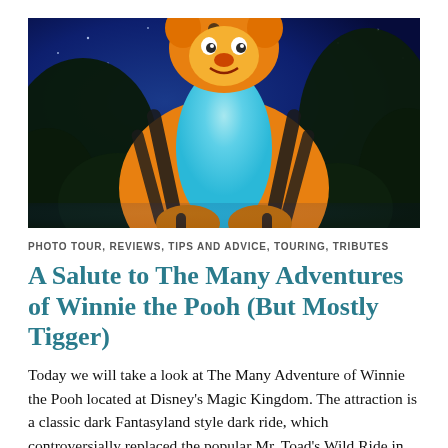[Figure (photo): Close-up photo of Tigger animatronic from The Many Adventures of Winnie the Pooh ride at Disney's Magic Kingdom. The figure shows Tigger's orange and black striped body with a light blue torso/chest area glowing, set against a dark blue night-sky background with dark foliage.]
PHOTO TOUR, REVIEWS, TIPS AND ADVICE, TOURING, TRIBUTES
A Salute to The Many Adventures of Winnie the Pooh (But Mostly Tigger)
Today we will take a look at The Many Adventure of Winnie the Pooh located at Disney's Magic Kingdom. The attraction is a classic dark Fantasyland style dark ride, which controversially replaced the popular Mr. Toad's Wild Ride in 1999. It also replaced Country Bear